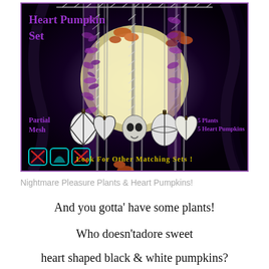[Figure (photo): Product promotional image for 'Heart Pumpkin Set' showing gothic Halloween chandelier with black and white striped pumpkins, purple and orange floral plants, on a dark moonlit background. Labels include 'Partial Mesh', '5 Plants 5 Heart Pumpkins', and 'Look For Other Matching Sets!' with social media icons.]
Nightmare Pleasure Plants & Heart Pumpkins!
And you gotta' have some plants!
Who doesn'tadore sweet
heart shaped black & white pumpkins?